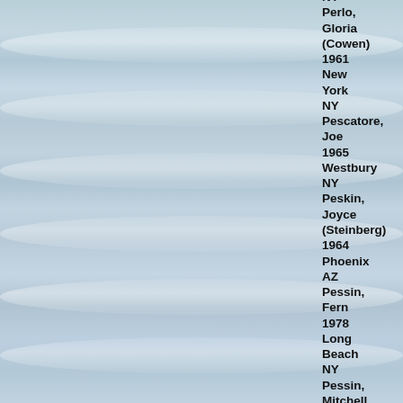[Figure (photo): Ocean waves background photo — pale blue-grey waves with white foam, viewed from above or at low angle, multiple wave crests visible.]
NY
Perlo, Gloria (Cowen)
1961
New York
NY
Pescatore, Joe
1965
Westbury
NY
Peskin, Joyce (Steinberg)
1964
Phoenix
AZ
Pessin, Fern
1978
Long Beach
NY
Pessin, Mitchell
1980
New York
NY